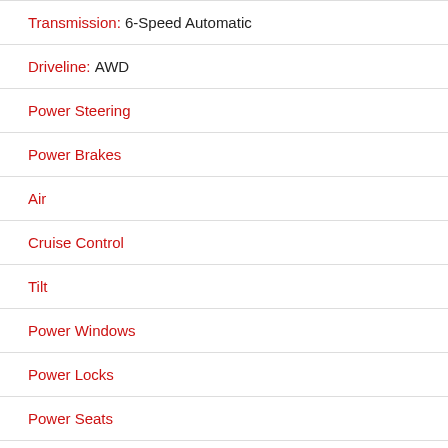Transmission: 6-Speed Automatic
Driveline: AWD
Power Steering
Power Brakes
Air
Cruise Control
Tilt
Power Windows
Power Locks
Power Seats
Stereo: AM/FM Radio, CD Player